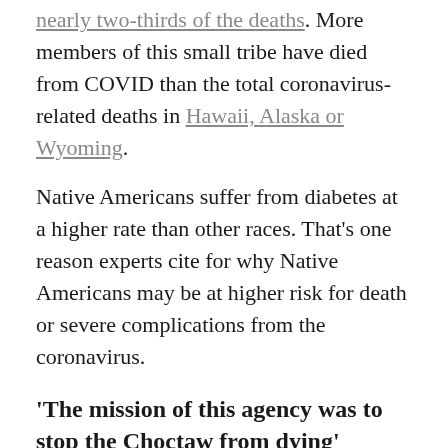nearly two-thirds of the deaths. More members of this small tribe have died from COVID than the total coronavirus-related deaths in Hawaii, Alaska or Wyoming.
Native Americans suffer from diabetes at a higher rate than other races. That's one reason experts cite for why Native Americans may be at higher risk for death or severe complications from the coronavirus.
'The mission of this agency was to stop the Choctaw from dying'
In his first year as Choctaw chief, Ben has